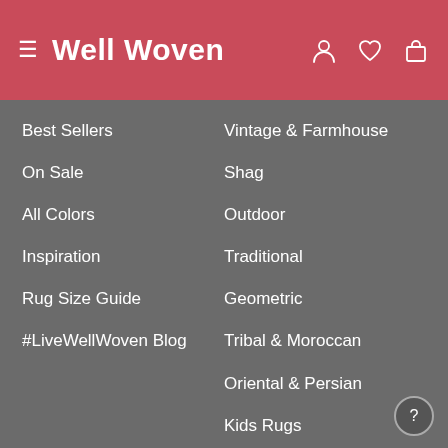Well Woven
Best Sellers
On Sale
All Colors
Inspiration
Rug Size Guide
#LiveWellWoven Blog
Vintage & Farmhouse
Shag
Outdoor
Traditional
Geometric
Tribal & Moroccan
Oriental & Persian
Kids Rugs
Shop by Color
Shop by Size
Ivory & Cream
2' x 3'
Blue
5' x 7'
Multi Color
8' x 11'